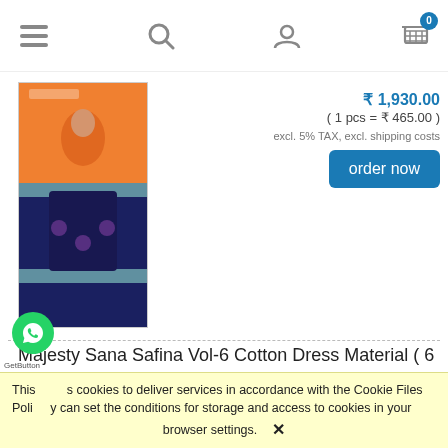Navigation bar with menu, search, account, and cart (0) icons
( 1,930.00 )
( 1 pcs = ₹ 465.00 )
excl. 5% TAX, excl. shipping costs
order now
[Figure (photo): Product photo of orange and navy blue dress material with embroidery, AL KARAM label visible]
Majesty Sana Safina Vol-6 Cotton Dress Material ( 6 Pcs Catalog )
[Figure (photo): Product photo of Majesty Sana Safina dress material with Majesty logo visible, woman wearing white and pink outfit]
₹ 4,794.00
( 1 pcs = ₹ 799.00 )
This uses cookies to deliver services in accordance with the Cookie Files Policy. You can set the conditions for storage and access to cookies in your browser settings. ✕